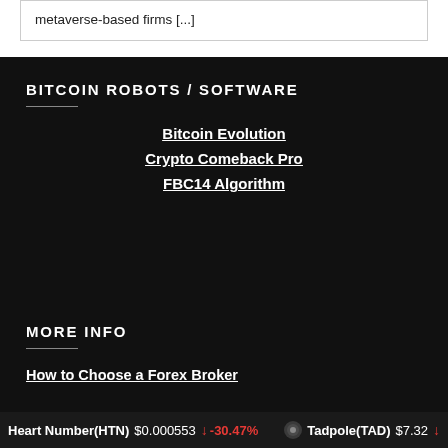metaverse-based firms [...]
BITCOIN ROBOTS / SOFTWARE
Bitcoin Evolution
Crypto Comeback Pro
FBC14 Algorithm
MORE INFO
How to Choose a Forex Broker
Heart Number(HTN) $0.000553 ↓ -30.47%   Tadpole(TAD) $7.32 ↓